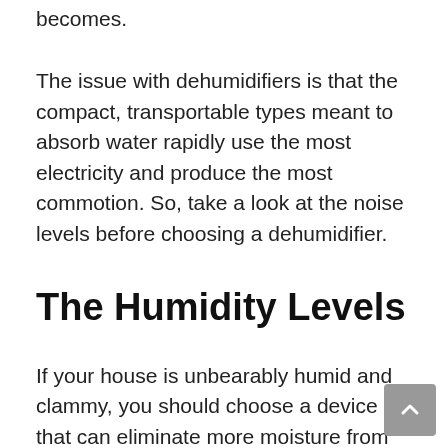becomes.
The issue with dehumidifiers is that the compact, transportable types meant to absorb water rapidly use the most electricity and produce the most commotion. So, take a look at the noise levels before choosing a dehumidifier.
The Humidity Levels
If your house is unbearably humid and clammy, you should choose a device that can eliminate more moisture from the atmosphere per day and has a massive water tank so you wouldn't have to worry about continuously draining it. If your home's air quality isn't as bad, you should look for a small dehumidifier to keep it from withering